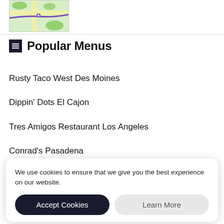[Figure (map): Partial map snippet showing street map with green areas and purple/yellow roads]
Popular Menus
Rusty Taco West Des Moines
Dippin' Dots El Cajon
Tres Amigos Restaurant Los Angeles
Conrad's Pasadena
Panda Express La Verne
All Things Wings Canton
We use cookies to ensure that we give you the best experience on our website.
Accept Cookies
Learn More